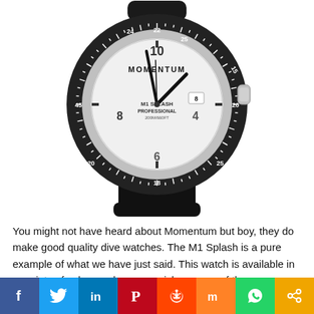[Figure (photo): Momentum M1 Splash Professional dive watch with white dial, black bezel with minute markings, black rubber strap, and date window at 3 o'clock position]
You might not have heard about Momentum but boy, they do make good quality dive watches. The M1 Splash is a pure example of what we have just said. This watch is available in a variety of colors and you can pick any one of them
[Figure (infographic): Social share bar with icons for Facebook, Twitter, LinkedIn, Pinterest, Reddit, Mix, WhatsApp, and Share]